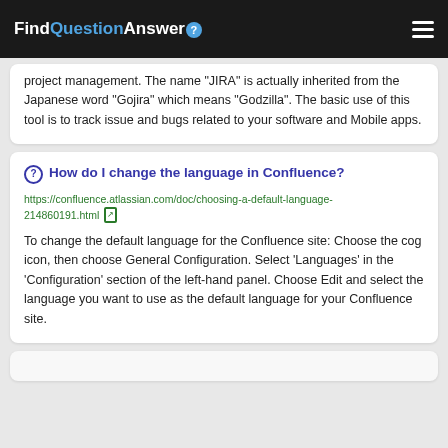FindQuestionAnswer
project management. The name "JIRA" is actually inherited from the Japanese word "Gojira" which means "Godzilla". The basic use of this tool is to track issue and bugs related to your software and Mobile apps.
How do I change the language in Confluence?
https://confluence.atlassian.com/doc/choosing-a-default-language-214860191.html
To change the default language for the Confluence site: Choose the cog icon, then choose General Configuration. Select 'Languages' in the 'Configuration' section of the left-hand panel. Choose Edit and select the language you want to use as the default language for your Confluence site.